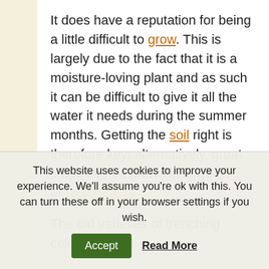It does have a reputation for being a little difficult to grow. This is largely due to the fact that it is a moisture-loving plant and as such it can be difficult to give it all the water it needs during the summer months. Getting the soil right is therefore key; alternatively, great crops can be grown in large pots or raised beds.
The old varieties of trenching celery needed
This website uses cookies to improve your experience. We'll assume you're ok with this. You can turn these off in your browser settings if you wish.